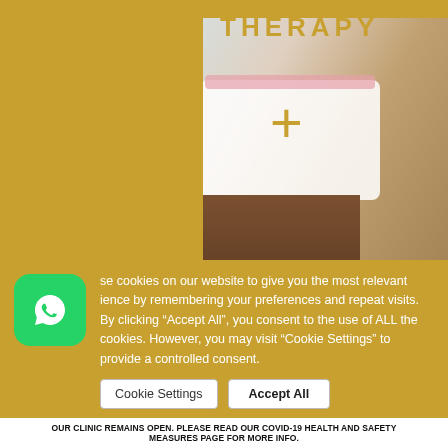[Figure (screenshot): Top portion of a medical/therapy website showing the word THERAPY in gold letters on a gold-framed image with a person running and a gold plus sign. Background shows blue sky and a person's lower body in white shorts.]
[Figure (screenshot): Second image section of a medical therapy website with a gold-toned framed panel and blurred background. Shopping bag and search icons visible on the right side.]
se cookies on our website to give you the most relevant ience by remembering your preferences and repeat visits. By clicking "Accept All", you consent to the use of ALL the cookies. However, you may visit "Cookie Settings" to provide a controlled consent.
Cookie Settings
Accept All
OUR CLINIC REMAINS OPEN. PLEASE READ OUR COVID-19 HEALTH AND SAFETY MEASURES PAGE FOR MORE INFO.